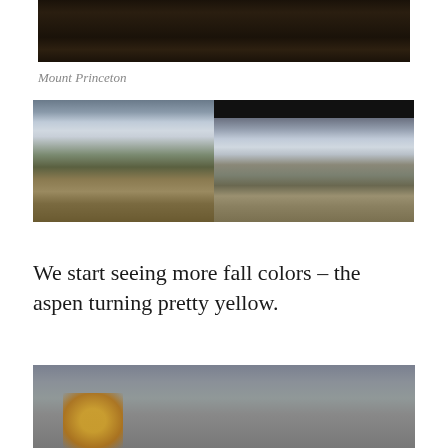[Figure (photo): Cropped top portion of a mountain landscape photo showing dark tree silhouettes against a dark sky]
Mount Princeton
[Figure (photo): Mountain landscape with cloudy sky, rocky peaks, and golden grassy foreground with dark trees]
[Figure (photo): Mountain view through a car window with a black top bar, showing snow-capped peaks under cloudy sky with dry grass foreground]
We start seeing more fall colors – the aspen turning pretty yellow.
[Figure (photo): Blurry photo of grey-toned landscape with yellow aspen foliage visible in the lower left]